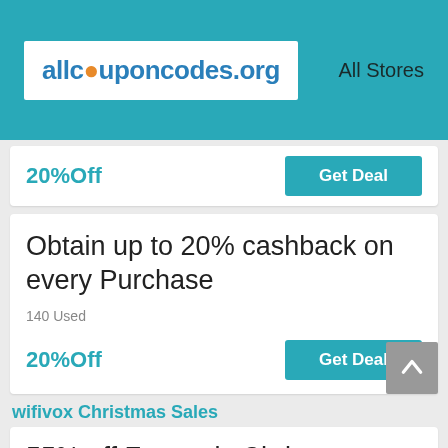allcouponcodes.org  All Stores
20%Off  Get Deal
Obtain up to 20% cashback on every Purchase
140 Used
20%Off  Get Deal
wifivox Christmas Sales
55% off Fantastic Christmas